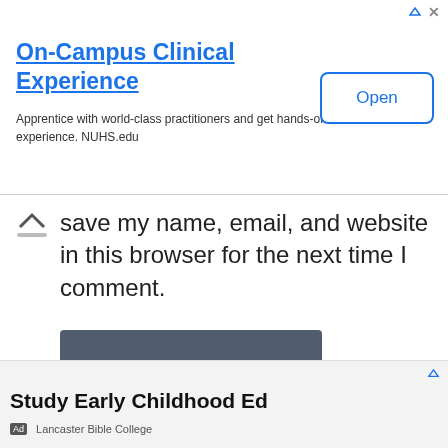[Figure (screenshot): Top advertisement banner for On-Campus Clinical Experience at NUHS.edu with an Open button]
On-Campus Clinical Experience
Apprentice with world-class practitioners and get hands-on clinical experience. NUHS.edu
save my name, email, and website in this browser for the next time I comment.
Post Comment
[Figure (screenshot): Bottom advertisement banner for Study Early Childhood Ed from Lancaster Bible College]